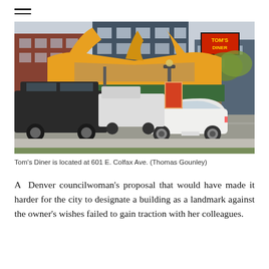[Figure (photo): Exterior photograph of Tom's Diner at 601 E. Colfax Ave., Denver. A retro-style diner building with a distinctive yellow/orange angular roof canopy and green lower roof. A white sedan is visible on the street in the foreground. Urban apartment buildings and street lamps are visible in the background. Tom's Diner sign with red lettering is visible at upper right.]
Tom's Diner is located at 601 E. Colfax Ave. (Thomas Gounley)
A Denver councilwoman's proposal that would have made it harder for the city to designate a building as a landmark against the owner's wishes failed to gain traction with her colleagues.